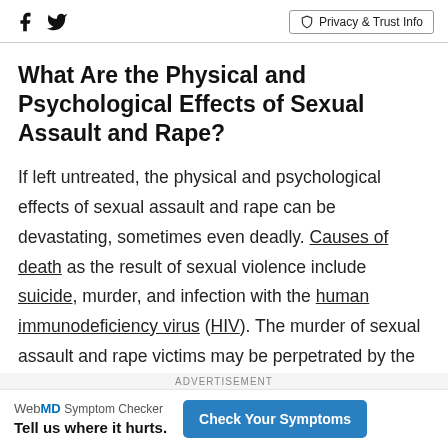Facebook | Twitter | Privacy & Trust Info
What Are the Physical and Psychological Effects of Sexual Assault and Rape?
If left untreated, the physical and psychological effects of sexual assault and rape can be devastating, sometimes even deadly. Causes of death as the result of sexual violence include suicide, murder, and infection with the human immunodeficiency virus (HIV). The murder of sexual assault and rape victims may be perpetrated by the rapist or as part of an honor killi... by family members of the victim. The victim of a rape
ADVERTISEMENT
WebMD Symptom Checker Tell us where it hurts. Check Your Symptoms